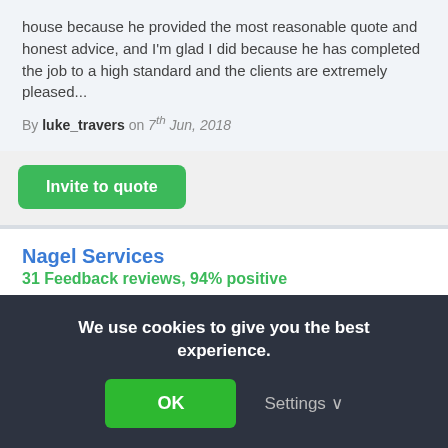house because he provided the most reasonable quote and honest advice, and I'm glad I did because he has completed the job to a high standard and the clients are extremely pleased...
By luke_travers on 7th Jun, 2018
Invite to quote
Nagel Services
31 Feedback reviews, 94% positive
🔧 Extension Builder based in West Malling
Hi, my name is Lauren, I have over 25 years...
We use cookies to give you the best experience.
OK
Settings ∨